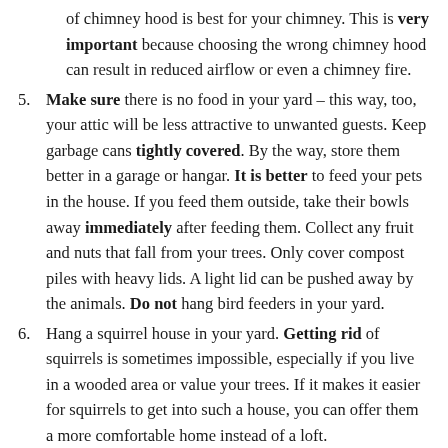of chimney hood is best for your chimney. This is very important because choosing the wrong chimney hood can result in reduced airflow or even a chimney fire.
5. Make sure there is no food in your yard – this way, too, your attic will be less attractive to unwanted guests. Keep garbage cans tightly covered. By the way, store them better in a garage or hangar. It is better to feed your pets in the house. If you feed them outside, take their bowls away immediately after feeding them. Collect any fruit and nuts that fall from your trees. Only cover compost piles with heavy lids. A light lid can be pushed away by the animals. Do not hang bird feeders in your yard.
6. Hang a squirrel house in your yard. Getting rid of squirrels is sometimes impossible, especially if you live in a wooded area or value your trees. If it makes it easier for squirrels to get into such a house, you can offer them a more comfortable home instead of a loft.